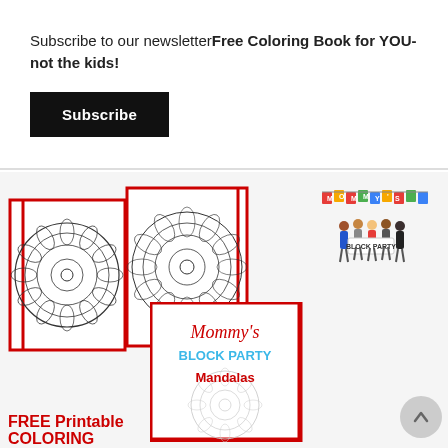Subscribe to our newsletterFree Coloring Book for YOU- not the kids!
Subscribe
[Figure (illustration): Open coloring book showing two mandala pages, with a smaller book cover showing 'Mommy's Block Party Mandalas' in red border, and a Mommy's Block Party logo in upper right]
FREE Printable COLORING